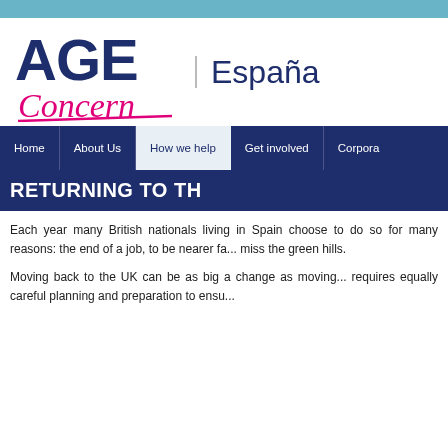[Figure (logo): Age Concern España logo — 'AGE' in dark navy bold, 'Concern' in pink italic script with underline, 'España' in navy light weight beside a vertical divider]
Home | About Us | How we help | Get involved | Corpora...
RETURNING TO TH...
Each year many British nationals living in Spain choose to do so for many reasons: the end of a job, to be nearer fa... miss the green hills.
Moving back to the UK can be as big a change as moving... requires equally careful planning and preparation to ensu...